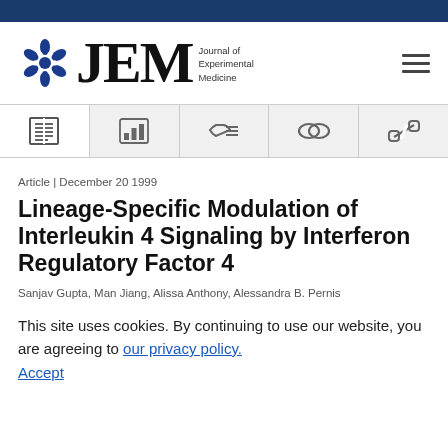JEM – Journal of Experimental Medicine
[Figure (logo): JEM Journal of Experimental Medicine logo with blue circular icon and large serif JEM letters]
[Figure (infographic): Toolbar with 5 icons: open book (selected), bar chart, list/references, link, broken link]
Article | December 20 1999
Lineage-Specific Modulation of Interleukin 4 Signaling by Interferon Regulatory Factor 4
Sanjav Gupta, Man Jiang, Alissa Anthony, Alessandra B. Pernis
This site uses cookies. By continuing to use our website, you are agreeing to our privacy policy. Accept